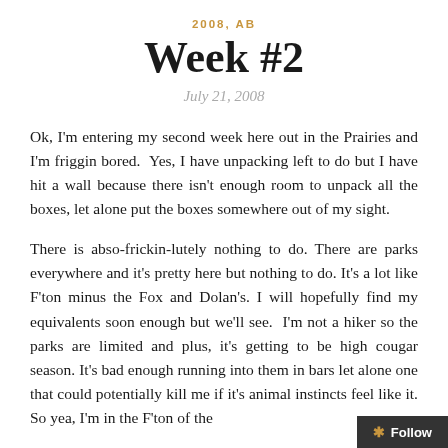2008, AB
Week #2
July 21, 2008
Ok, I'm entering my second week here out in the Prairies and I'm friggin bored.  Yes, I have unpacking left to do but I have hit a wall because there isn't enough room to unpack all the boxes, let alone put the boxes somewhere out of my sight.
There is abso-frickin-lutely nothing to do. There are parks everywhere and it's pretty here but nothing to do. It's a lot like F'ton minus the Fox and Dolan's. I will hopefully find my equivalents soon enough but we'll see.  I'm not a hiker so the parks are limited and plus, it's getting to be high cougar season. It's bad enough running into them in bars let alone one that could potentially kill me if it's animal instincts feel like it. So yea, I'm in the F'ton of the